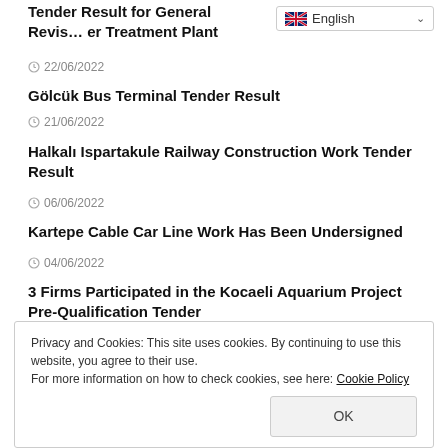Tender Result for General Revision of Water Treatment Plant
22/06/2022
Gölcük Bus Terminal Tender Result
21/06/2022
Halkalı Ispartakule Railway Construction Work Tender Result
06/06/2022
Kartepe Cable Car Line Work Has Been Undersigned
04/06/2022
3 Firms Participated in the Kocaeli Aquarium Project Pre-Qualification Tender
01/06/2022
Privacy and Cookies: This site uses cookies. By continuing to use this website, you agree to their use.
For more information on how to check cookies, see here: Cookie Policy